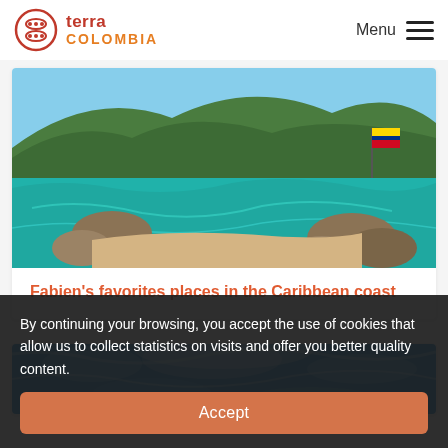terra COLOMBIA  Menu
[Figure (photo): Tropical Caribbean beach scene with turquoise water, large boulders, sandy beach, dense green jungle hillside, and a Colombian flag on a pole]
Fabien's favorites places in the Caribbean coast
[Figure (photo): Close-up underwater or surface view of bright blue tropical water with light patterns]
By continuing your browsing, you accept the use of cookies that allow us to collect statistics on visits and offer you better quality content.
Accept